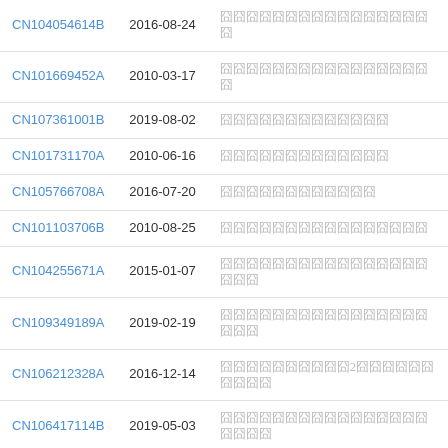| Patent ID | Date | Title |
| --- | --- | --- |
| CN104054614B | 2016-08-24 | 一种用于电池管理系统的均衡控制 |
| CN101669452A | 2010-03-17 | 一种用于电池管理系统的均衡控制 |
| CN107361001B | 2019-08-02 | 一种用于电池管理系统 |
| CN101731170A | 2010-06-16 | 一种用于电池管理系统 |
| CN105766708A | 2016-07-20 | 一种用于电池管理系统 |
| CN101103706B | 2010-08-25 | 一种用于电池管理系统的均衡控制 |
| CN104255671A | 2015-01-07 | 一种用于电池管理系统的均衡控制方法 |
| CN109349189A | 2019-02-19 | 一种用于电池管理系统的均衡控制方法 |
| CN106212328A | 2016-12-14 | 一种含有2种成分的电池管理系统方法 |
| CN106417114B | 2019-05-03 | 一种用于电池管理系统的均衡控制方法 |
| CN110278898A | 2019-09-27 | 一种用于电池管理系统的均衡控制 |
| CN204762866U | 2015-11-18 | 一种用于电池管理系统 |
| CN107682804A | 2019-02-13 | 一种用于电池管理系统 |